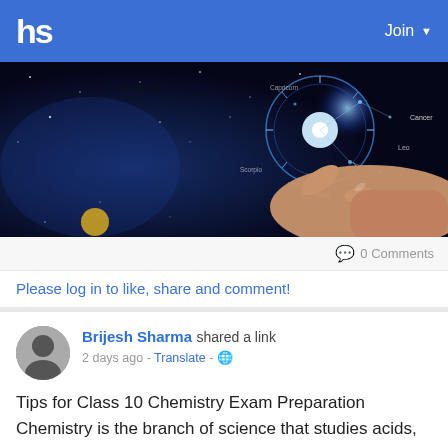hs   Join
[Figure (photo): Dark space/astrology themed banner image showing a hand pointing at glowing zodiac constellation wheel on dark blue starry background with zodiac sign labels including Cancer, Leo, Libra, Capricorn visible]
0 Comments
Please log in to like, share and comment!
Brijesh Sharma shared a link
2 days ago - Translate - [globe]
Tips for Class 10 Chemistry Exam Preparation Chemistry is the branch of science that studies acids, bases, salts, carbon compounds, structure, properties, and composition of particles and matter.